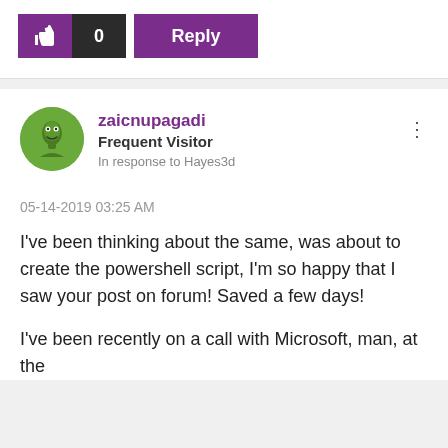[Figure (other): Like button with thumbs up icon (purple), count of 0 (dark), and Reply button (purple)]
zaicnupagadi
Frequent Visitor
In response to Hayes3d
05-14-2019 03:25 AM
I've been thinking about the same, was about to create the powershell script, I'm so happy that I saw your post on forum! Saved a few days!
I've been recently on a call with Microsoft, man, at the